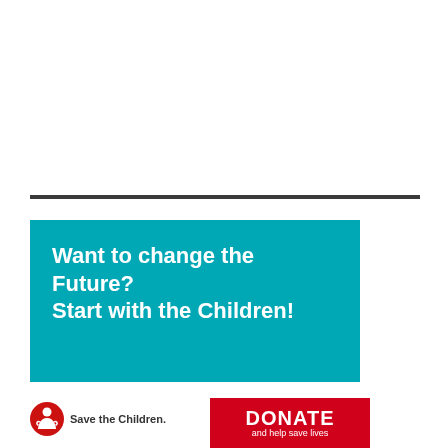[Figure (other): Horizontal dark divider line across the page]
Want to change the Future? Start with the Children!
[Figure (logo): Save the Children logo with red circular child icon and text 'Save the Children.']
[Figure (other): Red DONATE button with text 'DONATE and help save lives']